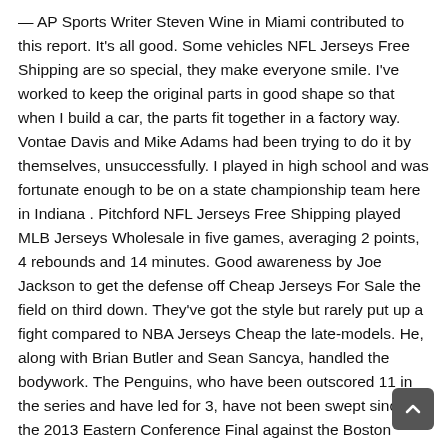— AP Sports Writer Steven Wine in Miami contributed to this report. It's all good. Some vehicles NFL Jerseys Free Shipping are so special, they make everyone smile. I've worked to keep the original parts in good shape so that when I build a car, the parts fit together in a factory way. Vontae Davis and Mike Adams had been trying to do it by themselves, unsuccessfully. I played in high school and was fortunate enough to be on a state championship team here in Indiana . Pitchford NFL Jerseys Free Shipping played MLB Jerseys Wholesale in five games, averaging 2 points, 4 rebounds and 14 minutes. Good awareness by Joe Jackson to get the defense off Cheap Jerseys For Sale the field on third down. They've got the style but rarely put up a fight compared to NBA Jerseys Cheap the late-models. He, along with Brian Butler and Sean Sancya, handled the bodywork. The Penguins, who have been outscored 11 in the series and have led for 3, have not been swept since the 2013 Eastern Conference Final against the Boston Bruins. The NBA moved from a best-of-five first round to a mlb authentic jerseys best-of-seven in 2003. When Wholesale San Diego Padres Jerseys the '55 finally hit the auction block, Holy was determined to take the Harvest Gold C1 home. The pick: Patriots 28 Eagles 20 TV: CBS LINE: Oakland, 10What you need to know: The Bengals stink